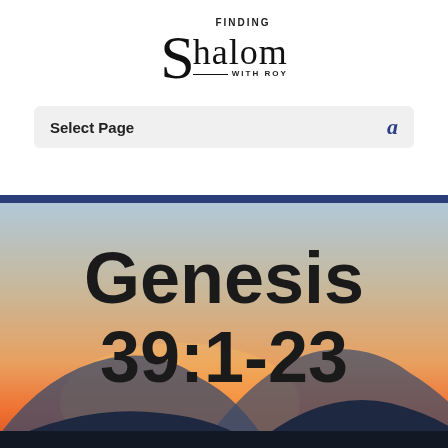[Figure (logo): Finding Shalom With Roy logo — decorative S with serif font and rule]
Select Page
[Figure (photo): Sunset landscape with mountain silhouettes in blue, orange, and peach tones]
Genesis 39:1-23